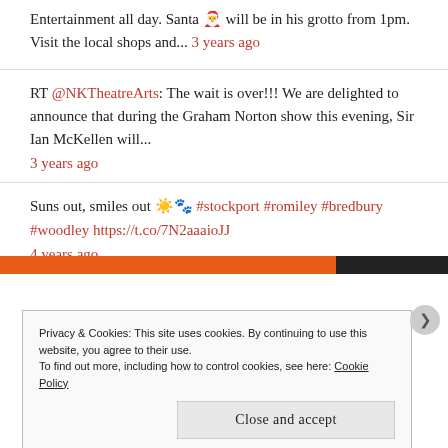Entertainment all day. Santa 🎅 will be in his grotto from 1pm. Visit the local shops and... 3 years ago
RT @NKTheatreArts: The wait is over!!! We are delighted to announce that during the Graham Norton show this evening, Sir Ian McKellen will... 3 years ago
Suns out, smiles out ☀️🐾 #stockport #romiley #bredbury #woodley https://t.co/7N2aaaioJJ 4 years ago
Privacy & Cookies: This site uses cookies. By continuing to use this website, you agree to their use. To find out more, including how to control cookies, see here: Cookie Policy Close and accept